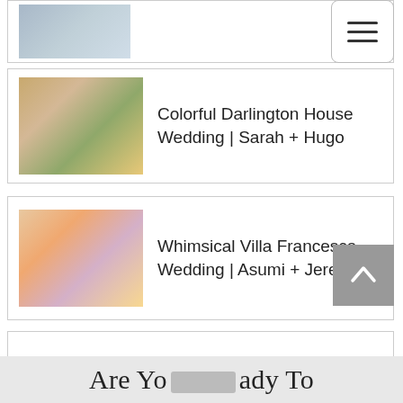[Figure (photo): Partial card at top showing a cropped wedding/event photo thumbnail]
[Figure (screenshot): Hamburger menu button (three horizontal lines) in top right corner]
Colorful Darlington House Wedding | Sarah + Hugo
Whimsical Villa Francesca Wedding | Asumi + Jeremy
Ethereal Gardens Wedding | Karelle + Kenneth
Romantic La Valencia Wedding | Jordan + Jeff
Are Yo...ady To